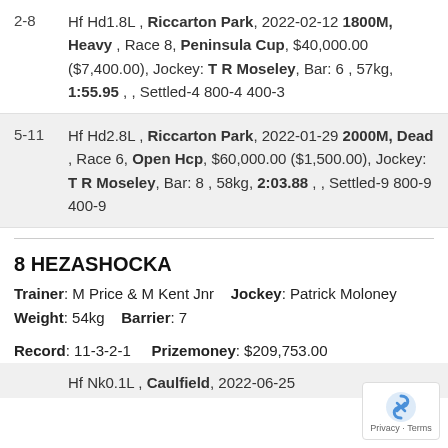2-8 | Hf Hd1.8L , Riccarton Park, 2022-02-12 1800M, Heavy , Race 8, Peninsula Cup, $40,000.00 ($7,400.00), Jockey: T R Moseley, Bar: 6 , 57kg, 1:55.95 , , Settled-4 800-4 400-3
5-11 | Hf Hd2.8L , Riccarton Park, 2022-01-29 2000M, Dead , Race 6, Open Hcp, $60,000.00 ($1,500.00), Jockey: T R Moseley, Bar: 8 , 58kg, 2:03.88 , , Settled-9 800-9 400-9
8 HEZASHOCKA
Trainer: M Price & M Kent Jnr  Jockey: Patrick Moloney  Weight: 54kg  Barrier: 7
Record: 11-3-2-1  Prizemoney: $209,753.00
Hf Nk0.1L , Caulfield, 2022-06-25